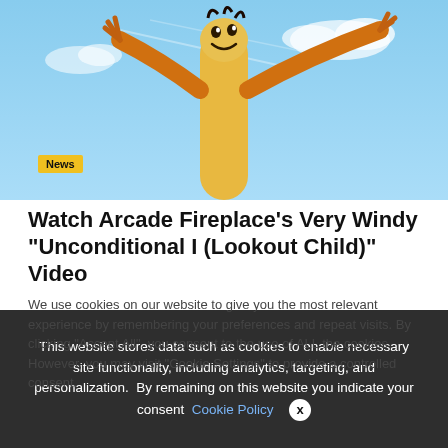[Figure (photo): Animated wacky waving inflatable tube man character against blue sky background, with a 'News' yellow badge overlay]
Watch Arcade Fireplace’s Very Windy “Unconditional I (Lookout Child)” Video
We use cookies on our website to give you the most relevant experience by remembering your preferences and repeat visits. By clicking “Accept All”, you consent to the use of ALL the cookies. However, you may visit “Cookie Settings” to provide a controlled consent.
This website stores data such as cookies to enable necessary site functionality, including analytics, targeting, and personalization. By remaining on this website you indicate your consent Cookie Policy